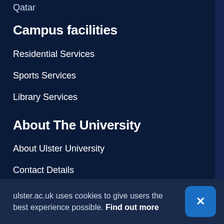Qatar
Campus facilities
Residential Services
Sports Services
Library Services
About The University
About Ulster University
Contact Details
Job opportunities
Key calendar dates
ulster.ac.uk uses cookies to give users the best experience possible. Find out more